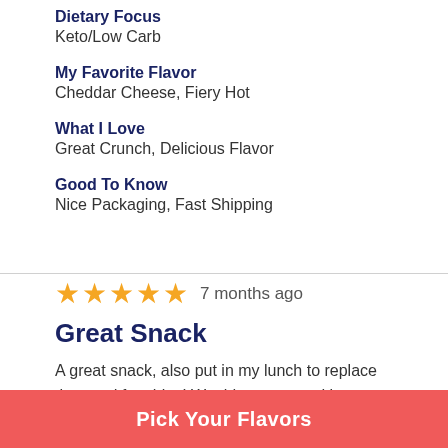Dietary Focus
Keto/Low Carb
My Favorite Flavor
Cheddar Cheese, Fiery Hot
What I Love
Great Crunch, Delicious Flavor
Good To Know
Nice Packaging, Fast Shipping
★★★★★ 7 months ago
Great Snack
A great snack, also put in my lunch to replace the need for chips! Would recommend it to anyone on the Keto diet.
Pick Your Flavors